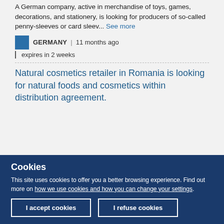A German company, active in merchandise of toys, games, decorations, and stationery, is looking for producers of so-called penny-sleeves or card sleev... See more
GERMANY | 11 months ago | expires in 2 weeks
Natural cosmetics retailer in Romania is looking for natural foods and cosmetics within distribution agreement.
Cookies
This site uses cookies to offer you a better browsing experience. Find out more on how we use cookies and how you can change your settings.
I accept cookies
I refuse cookies